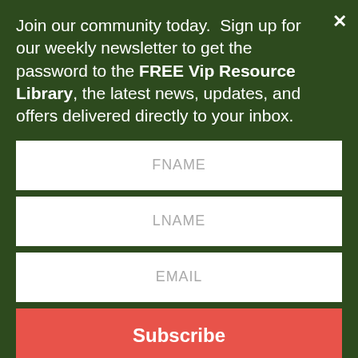Join our community today.  Sign up for our weekly newsletter to get the password to the FREE Vip Resource Library, the latest news, updates, and offers delivered directly to your inbox.
[Figure (screenshot): Newsletter signup form with FNAME, LNAME, EMAIL fields and Subscribe button on dark green background]
you want! Just schedule a call by clicking here.
If you are a nonprofit professional or board member and want to learn from me and others join the Nonprofit Professionals Exchange Facebook Group. You will find